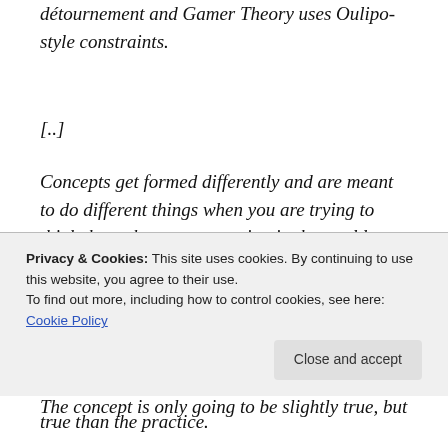détournement and Gamer Theory uses Oulipo-style constraints.
[..]
Concepts get formed differently and are meant to do different things when you are trying to think through your own action in the world rather that when you are a scholar of action in the world.
[..]
The concept is only going to be slightly true, but about
Privacy & Cookies: This site uses cookies. By continuing to use this website, you agree to their use.
To find out more, including how to control cookies, see here: Cookie Policy
true than the practice.